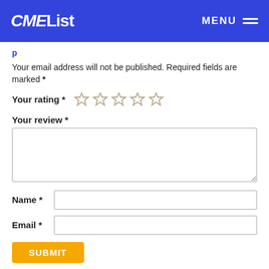CMEList MENU
Your email address will not be published. Required fields are marked *
Your rating *
Your review *
Name *
Email *
SUBMIT